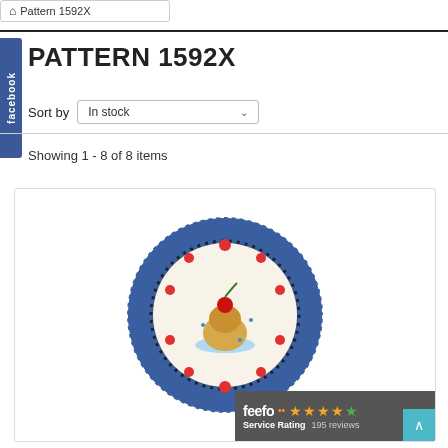Pattern 1592X
PATTERN 1592X
Sort by  In stock
Showing 1 - 8 of 8 items
[Figure (photo): A decorative ceramic plate with blue pattern border and a dessert/pudding with cherry illustration in the center, displayed in a product card.]
[Figure (logo): Feefo service rating badge showing 4 stars out of 5 and 195 reviews.]